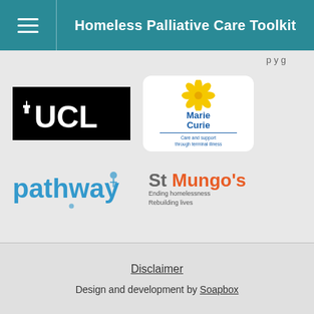Homeless Palliative Care Toolkit
[Figure (logo): UCL (University College London) logo — white text on black background]
[Figure (logo): Marie Curie logo — yellow daffodil flower with text 'Marie Curie Care and support through terminal illness' on white rounded box]
[Figure (logo): Pathway logo — blue text 'pathway' with small blue figures]
[Figure (logo): St Mungo's logo — grey 'St' and orange 'Mungo's' with tagline 'Ending homelessness Rebuilding lives']
Disclaimer
Design and development by Soapbox